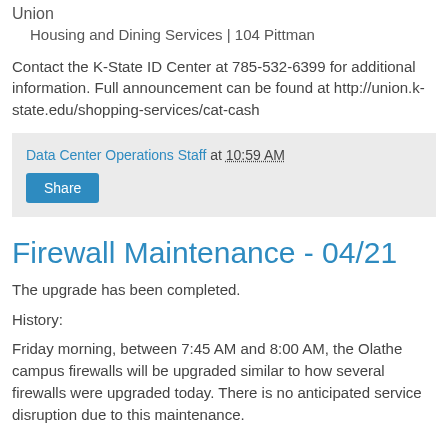Union
    Housing and Dining Services | 104 Pittman
Contact the K-State ID Center at 785-532-6399 for additional information. Full announcement can be found at http://union.k-state.edu/shopping-services/cat-cash
Data Center Operations Staff at 10:59 AM
Share
Firewall Maintenance - 04/21
The upgrade has been completed.
History:
Friday morning, between 7:45 AM and 8:00 AM, the Olathe campus firewalls will be upgraded similar to how several firewalls were upgraded today. There is no anticipated service disruption due to this maintenance.